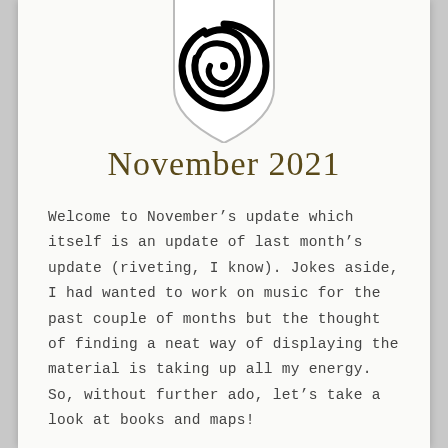[Figure (logo): A heraldic shield shape containing a large decorative spiral/swirl symbol in black on white background]
November 2021
Welcome to November’s update which itself is an update of last month’s update (riveting, I know). Jokes aside, I had wanted to work on music for the past couple of months but the thought of finding a neat way of displaying the material is taking up all my energy. So, without further ado, let’s take a look at books and maps!
The Book